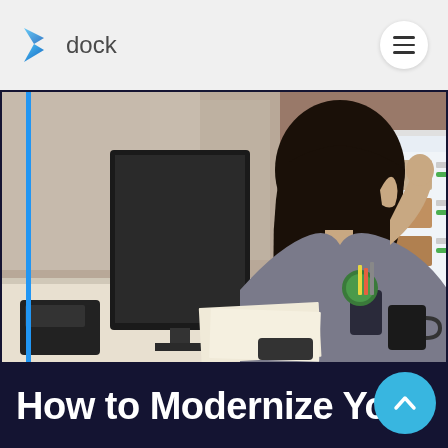dock
[Figure (photo): Woman sitting at a desk viewed from behind, looking at two computer monitors. Left monitor shows dark content, right monitor shows a web application interface. Desk has papers, a phone, pens, and a coffee mug.]
How to Modernize You...